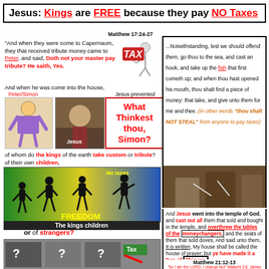Jesus: Kings are FREE because they pay NO Taxes
Matthew 17:24-27
"And when they were come to Capernaum, they that received tribute money came to Peter, and said, Doth not your master pay tribute? He saith, Yes.
[Figure (illustration): Stick figure carrying TAX block on its back]
And when he was come into the house,
[Figure (illustration): Peter/Simon cartoon figure and Jesus painting image side by side]
Jesus prevented him, saying,
What Thinkest thou, Simon?
of whom do the kings of the earth take custom or tribute? of their own children,
[Figure (illustration): Freedom image with silhouettes of dancing/jumping children on colorful background with FREEDOM text and No taxes label]
The kings children
or of strangers?
[Figure (photo): People holding question mark signs and Tax sign]
...Notwithstanding, lest we should offend them, go thou to the sea, and cast an hook, and take up the fish that first cometh up; and when thou hast opened his mouth, thou shalt find a piece of money: that take, and give unto them for me and thee. (in other words "thou shalt NOT STEAL" from anyone to pay taxes)
[Figure (photo): Jesus driving out moneychangers from the temple]
And Jesus went into the temple of God, and cast out all them that sold and bought in the temple, and overthrew the tables of the moneychangers, and the seats of them that sold doves, And said unto them, It is written, My house shall be called the house of prayer; but ye have made it a Den of Thieves.
Matthew 21:12-13
"for I am the LORD, I change Not" Malachi 3:6; James 1:17
"It is written" is quoted 192 times in the New Testament Matthew 5:17 ; Matthew 6:33 ; The Kingdom of God is...